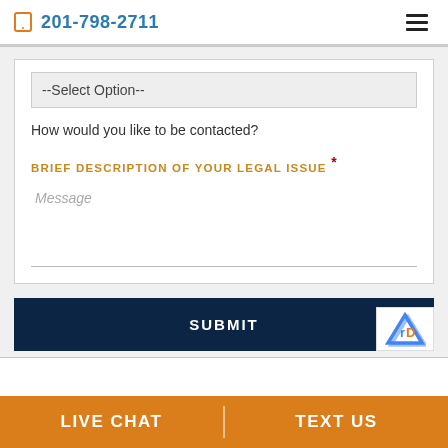201-798-2711
--Select Option--
How would you like to be contacted?
BRIEF DESCRIPTION OF YOUR LEGAL ISSUE *
Message
SUBMIT
LIVE CHAT
TEXT US